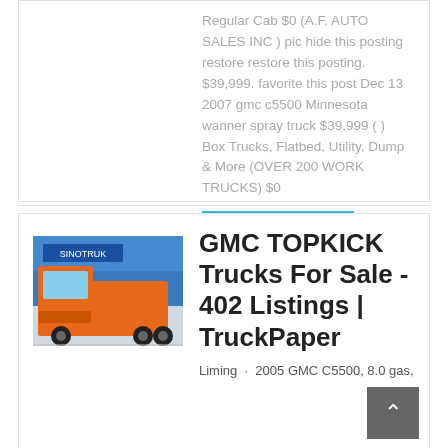Regular Cab $0 (A.F. AUTO SALES INC ) pic hide this posting restore restore this posting. $39,999. favorite this post Dec 13 2007 gmc c5500 Minnesota wanner spray truck $39,999 ( ) Box Trucks, Flatbed, Utility, Dump & More (OVER 200 WORK TRUCKS) $0
learn More
[Figure (photo): Orange truck parked in front of a building with blue signage]
GMC TOPKICK Trucks For Sale - 402 Listings | TruckPaper
Liming · 2005 GMC C5500, 8.0 gas,